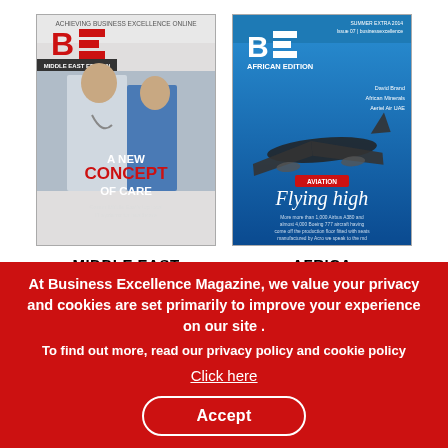[Figure (illustration): Magazine cover for Business Excellence Middle East edition showing two doctors/medical professionals with text 'A NEW CONCEPT OF CARE']
MIDDLE EAST
[Figure (illustration): Magazine cover for Business Excellence African Edition showing an airplane in flight with text 'Flying high']
AFRICA
[Figure (illustration): Partial view of another magazine cover - Middle East edition bottom portion]
[Figure (illustration): Partial view of another magazine cover - dark edition bottom portion]
At Business Excellence Magazine, we value your privacy and cookies are set primarily to improve your experience on our site .
To find out more, read our privacy policy and cookie policy
Click here
Accept